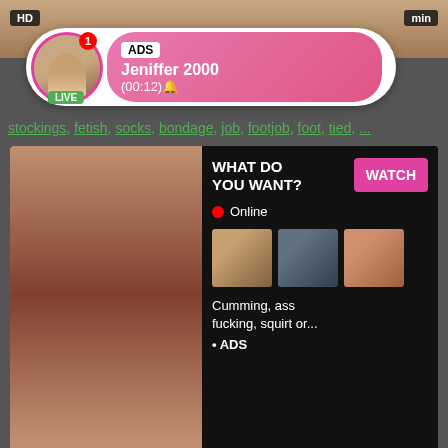[Figure (screenshot): Top partial video thumbnail showing skin-toned background]
HD
min
[Figure (infographic): Notification bubble with avatar, LIVE badge, ADS label, name Jeniffer 2000, time (00:12)]
stockings, fetish, socks, bondage, job, footjob, foot, tied, ...
[Figure (screenshot): Adult advertisement block with WHAT DO YOU WANT? WATCH button, Online indicator, thumbnails, text Cumming, ass fucking, squirt or... ADS]
HD
11 min
Giantess Sexy Feet Feet Toes Giantess
feet, toes, giantess, crush
[Figure (photo): Bottom partial video thumbnail]